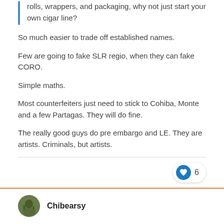rolls, wrappers, and packaging, why not just start your own cigar line?
So much easier to trade off established names.
Few are going to fake SLR regio, when they can fake CORO.
Simple maths.
Most counterfeiters just need to stick to Cohiba, Monte and a few Partagas. They will do fine.
The really good guys do pre embargo and LE. They are artists. Criminals, but artists.
Chibearsy